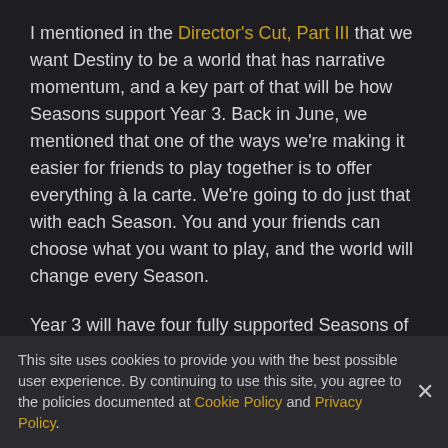I mentioned in the Director's Cut, Part III that we want Destiny to be a world that has narrative momentum, and a key part of that will be how Seasons support Year 3. Back in June, we mentioned that one of the ways we're making it easier for friends to play together is to offer everything à la carte. We're going to do just that with each Season. You and your friends can choose what you want to play, and the world will change every Season.
Year 3 will have four fully supported Seasons of content (last year's Annual Pass had only three!), but this year, you can opt in to each Season for 10 bucks—you won't have to pay up front for an entire year of content, like with the Forsaken Annual Pass. (FYI, the first season in this new vision, Season of the Undying, is included with Shadowkeep, but if you just want to experience Season of the Undying, you can grab that
This site uses cookies to provide you with the best possible user experience. By continuing to use this site, you agree to the policies documented at Cookie Policy and Privacy Policy.